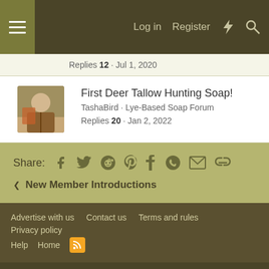Log in  Register
Replies 12 · Jul 1, 2020
First Deer Tallow Hunting Soap!
TashaBird · Lye-Based Soap Forum
Replies 20 · Jan 2, 2022
Share:
< New Member Introductions
Advertise with us  Contact us  Terms and rules  Privacy policy  Help  Home
Community platform by XenForo® © 2010-2022 XenForo Ltd.
AN ELITE CAFEMEDIA PUBLISHER